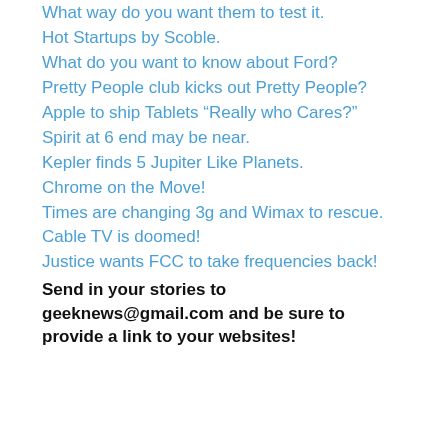What way do you want them to test it.
Hot Startups by Scoble.
What do you want to know about Ford?
Pretty People club kicks out Pretty People?
Apple to ship Tablets “Really who Cares?”
Spirit at 6 end may be near.
Kepler finds 5 Jupiter Like Planets.
Chrome on the Move!
Times are changing 3g and Wimax to rescue.
Cable TV is doomed!
Justice wants FCC to take frequencies back!
Send in your stories to geeknews@gmail.com and be sure to provide a link to your websites!